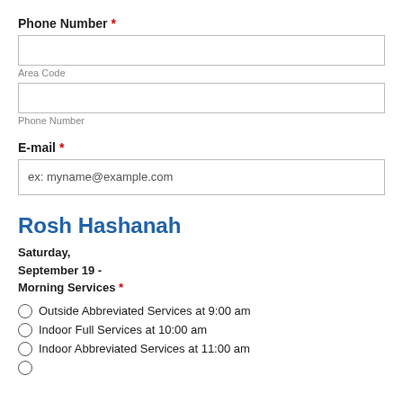Phone Number *
[Figure (other): Empty text input box for Area Code]
Area Code
[Figure (other): Empty text input box for Phone Number]
Phone Number
E-mail *
[Figure (other): Text input box with placeholder: ex: myname@example.com]
Rosh Hashanah
Saturday, September 19 - Morning Services *
Outside Abbreviated Services at 9:00 am
Indoor Full Services at 10:00 am
Indoor Abbreviated Services at 11:00 am